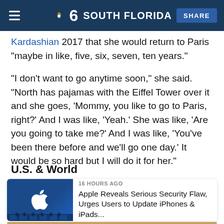NBC 6 South Florida — SHARE
Kardashian ... in 2017 that she would return to Paris "maybe in like, five, six, seven, ten years."
"I don't want to go anytime soon," she said. "North has pajamas with the Eiffel Tower over it and she goes, 'Mommy, you like to go to Paris, right?' And I was like, 'Yeah.' She was like, 'Are you going to take me?' And I was like, 'You've been there before and we'll go one day.' It would be so hard but I will do it for her."
U.S. & World
[Figure (photo): Apple store front with large Apple logo lit in white on blue background, with crowd of people below]
16 HOURS AGO
Apple Reveals Serious Security Flaw, Urges Users to Update iPhones & iPads...